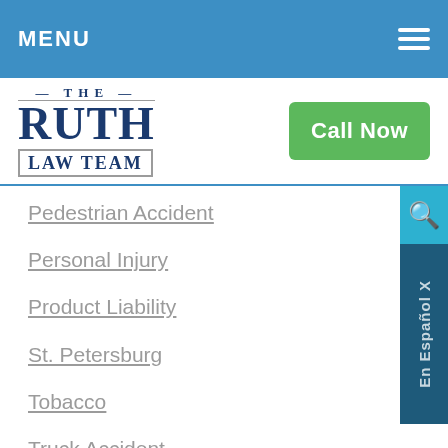MENU
[Figure (logo): The Ruth Law Team logo with blue serif text and gray border around LAW TEAM]
[Figure (other): Green Call Now button]
Pedestrian Accident
Personal Injury
Product Liability
St. Petersburg
Tobacco
Truck Accident
Uncategorized
Video